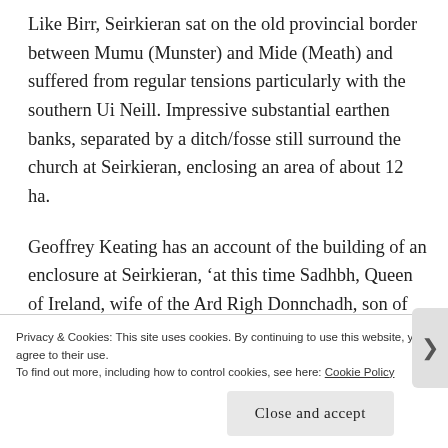Like Birr, Seirkieran sat on the old provincial border between Mumu (Munster) and Mide (Meath) and suffered from regular tensions particularly with the southern Ui Neill. Impressive substantial earthen banks, separated by a ditch/fosse still surround the church at Seirkieran, enclosing an area of about 12 ha.
Geoffrey Keating has an account of the building of an enclosure at Seirkieran, ‘at this time Sadhbh, Queen of Ireland, wife of the Ard Righ Donnchadh, son of Flann Sionna and daughter of Donnchadh King of Ossory grieved that Saighir the burial place of her
Privacy & Cookies: This site uses cookies. By continuing to use this website, you agree to their use.
To find out more, including how to control cookies, see here: Cookie Policy
Close and accept